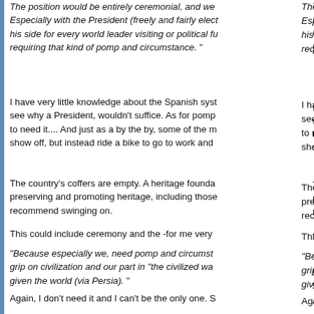The position would be entirely ceremonial, and we... Especially with the President (freely and fairly elected) at his side for every world leader visiting or political function requiring that kind of pomp and circumstance. "
I have very little knowledge about the Spanish sys... see why a President, wouldn't suffice. As for pomp... to need it.... And just as a by the by, some of the r... show off, but instead ride a bike to go to work and...
The country's coffers are empty. A heritage founda... preserving and promoting heritage, including thos... recommend swinging on.
This could include ceremony and the -for me very...
"Because especially we, need pomp and circumst... grip on civilization and our part in "the civilized wa... given the world (via Persia). "
Again, I don't need it and I can't be the only one. S... contributions is by far more important? Again, a p... ministry can sort that one out. There are plenty of... who could easily create the connections right acro...
"We also absolutely need romance. romance mak... else is a cold eslamic, communistic hive dwelling ... any distinctive identity, humanity, art and beauty. C... life under the IRI today. "